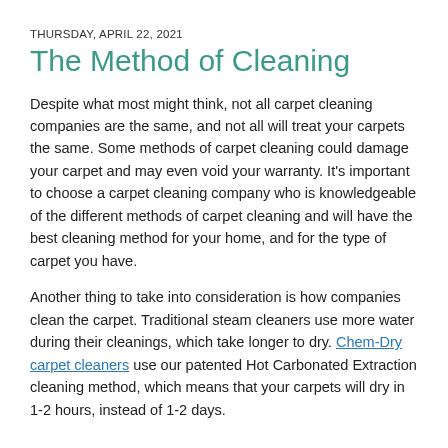THURSDAY, APRIL 22, 2021
The Method of Cleaning
Despite what most might think, not all carpet cleaning companies are the same, and not all will treat your carpets the same. Some methods of carpet cleaning could damage your carpet and may even void your warranty. It's important to choose a carpet cleaning company who is knowledgeable of the different methods of carpet cleaning and will have the best cleaning method for your home, and for the type of carpet you have.
Another thing to take into consideration is how companies clean the carpet. Traditional steam cleaners use more water during their cleanings, which take longer to dry. Chem-Dry carpet cleaners use our patented Hot Carbonated Extraction cleaning method, which means that your carpets will dry in 1-2 hours, instead of 1-2 days.